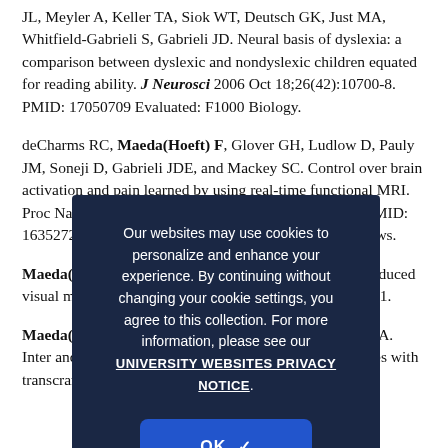JL, Meyler A, Keller TA, Siok WT, Deutsch GK, Just MA, Whitfield-Gabrieli S, Gabrieli JD. Neural basis of dyslexia: a comparison between dyslexic and nondyslexic children equated for reading ability. J Neurosci 2006 Oct 18;26(42):10700-8. PMID: 17050709 Evaluated: F1000 Biology.
deCharms RC, Maeda(Hoeft) F, Glover GH, Ludlow D, Pauly JM, Soneji D, Gabrieli JDE, and Mackey SC. Control over brain activation and pain learned by using real-time functional MRI. Proc Natl Acad Sci (US) 2005; 102(51): 18626-18631. PMID: 16352728. Coverage: Nature, Nature Medicine, NBC News.
Maeda(Hoeft) F, Kariar R, Sugiura S. Changing pitch-induced visual motion illusion. Curr Biol 2004; 14(23):R990-R991.
Maeda(Hoeft) F, Gangitano M, Thall M, Pascual-Leone A. Inter and intra-individual variability of paired-pulse curves with transcranial magnetic stimulation (TMS). Clin
[Figure (screenshot): Cookie consent modal overlay with dark navy background. Text reads: 'Our websites may use cookies to personalize and enhance your experience. By continuing without changing your cookie settings, you agree to this collection. For more information, please see our UNIVERSITY WEBSITES PRIVACY NOTICE.' with an OK button below.]